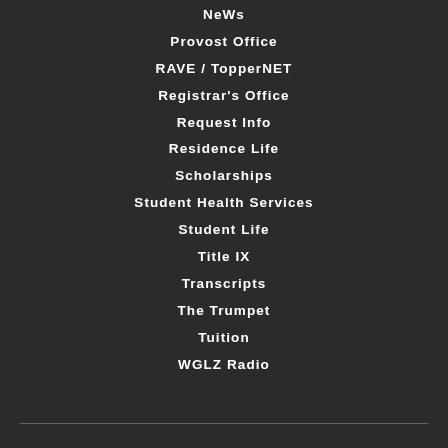NeWs
Provost Office
RAVE / TopperNET
Registrar's Office
Request Info
Residence Life
Scholarships
Student Health Services
Student Life
Title IX
Transcripts
The Trumpet
Tuition
WGLZ Radio